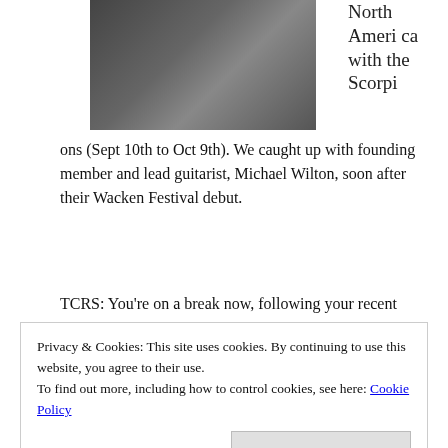[Figure (photo): A guitarist performing on stage, holding a decorated guitar, wearing black clothing with accessories, Marshall amp visible in background.]
North America with the Scorpions (Sept 10th to Oct 9th). We caught up with founding member and lead guitarist, Michael Wilton, soon after their Wacken Festival debut.
TCRS: You're on a break now, following your recent
Privacy & Cookies: This site uses cookies. By continuing to use this website, you agree to their use.
To find out more, including how to control cookies, see here: Cookie Policy
Close and accept
we start the next tour.